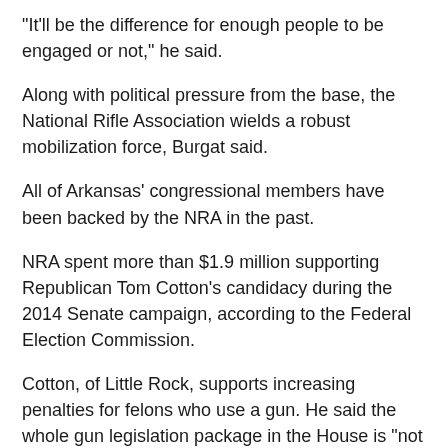"It'll be the difference for enough people to be engaged or not," he said.
Along with political pressure from the base, the National Rifle Association wields a robust mobilization force, Burgat said.
All of Arkansas' congressional members have been backed by the NRA in the past.
NRA spent more than $1.9 million supporting Republican Tom Cotton's candidacy during the 2014 Senate campaign, according to the Federal Election Commission.
Cotton, of Little Rock, supports increasing penalties for felons who use a gun. He said the whole gun legislation package in the House is "not acceptable" to most Arkansans.
"The deterrent effect of longer sentences for using a gun in a crime is significant and demonstrated," the U.S. senator said